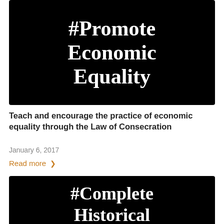[Figure (illustration): Black background image with white bold serif text reading '#Promote Economic Equality']
Teach and encourage the practice of economic equality through the Law of Consecration
January 6, 2017
Read more >
[Figure (illustration): Black background image with white bold serif text reading '#Complete Historical Transparency' and a green 'Progress!' badge with checkmark]